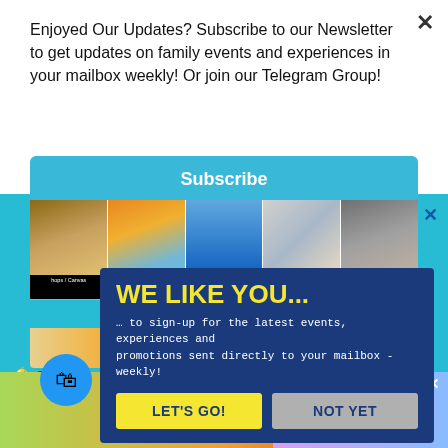Enjoyed Our Updates? Subscribe to our Newsletter to get updates on family events and experiences in your mailbox weekly! Or join our Telegram Group!
[Figure (screenshot): Newsletter subscription popup modal with photo strip of family activities, 'WE LIKE YOU...' heading in yellow on dark blue, tagline about signing up, and two buttons: LET'S GO! and NOT YET]
Share Your Experiences  JY  Jiarong Yu
[Figure (screenshot): Mobile app advertisement banner: 've this game an't stop playing! Download Now' with colorful game imagery and Bubble Shooter Animal World game thumbnail on right]